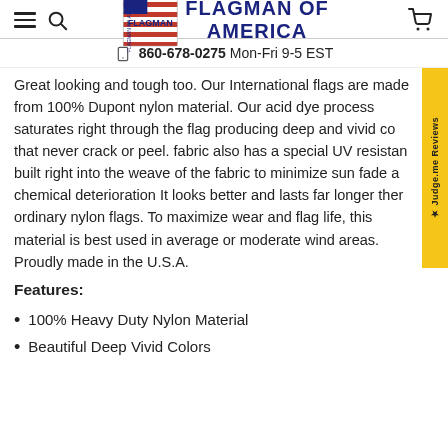Flagman of America — navigation header with logo, phone 860-678-0275, Mon-Fri 9-5 EST
Great looking and tough too. Our International flags are made from 100% Dupont nylon material. Our acid dye process saturates right through the flag producing deep and vivid colors that never crack or peel. fabric also has a special UV resistant built right into the weave of the fabric to minimize sun fade and chemical deterioration It looks better and lasts far longer then ordinary nylon flags. To maximize wear and flag life, this material is best used in average or moderate wind areas. Proudly made in the U.S.A.
Features:
100% Heavy Duty Nylon Material
Beautiful Deep Vivid Colors